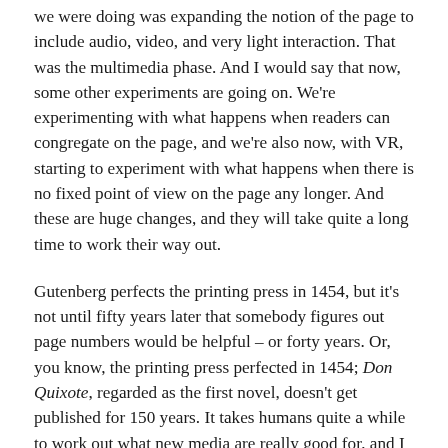we were doing was expanding the notion of the page to include audio, video, and very light interaction. That was the multimedia phase. And I would say that now, some other experiments are going on. We're experimenting with what happens when readers can congregate on the page, and we're also now, with VR, starting to experiment with what happens when there is no fixed point of view on the page any longer. And these are huge changes, and they will take quite a long time to work their way out.
Gutenberg perfects the printing press in 1454, but it's not until fifty years later that somebody figures out page numbers would be helpful – or forty years. Or, you know, the printing press perfected in 1454; Don Quixote, regarded as the first novel, doesn't get published for 150 years. It takes humans quite a while to work out what new media are really good for, and I would say we are incredibly early in this. It could easily be another 20, 30, 50 years before something really establishes itself as the book of the future.